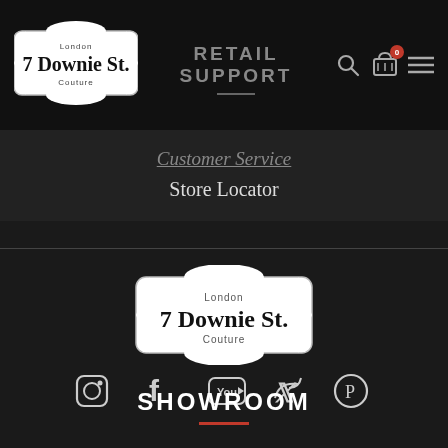[Figure (logo): 7 Downie St. London Couture logo badge in white with dark text, header top-left]
RETAIL SUPPORT
Customer Service
Store Locator
[Figure (logo): 7 Downie St. London Couture logo badge in white, footer center]
[Figure (other): Social media icons row: Instagram, Facebook, YouTube, Twitter, Pinterest]
SHOWROOM